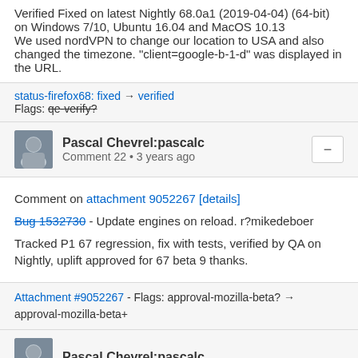Verified Fixed on latest Nightly 68.0a1 (2019-04-04) (64-bit) on Windows 7/10, Ubuntu 16.04 and MacOS 10.13
We used nordVPN to change our location to USA and also changed the timezone. "client=google-b-1-d" was displayed in the URL.
status-firefox68: fixed → verified
Flags: qe-verify?
Pascal Chevrel:pascalc
Comment 22 • 3 years ago
Comment on attachment 9052267 [details]
Bug 1532730 - Update engines on reload. r?mikedeboer

Tracked P1 67 regression, fix with tests, verified by QA on Nightly, uplift approved for 67 beta 9 thanks.
Attachment #9052267 - Flags: approval-mozilla-beta? → approval-mozilla-beta+
Pascal Chevrel:pascalc